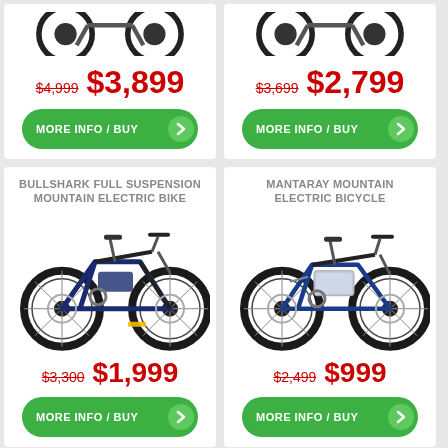[Figure (photo): Top-left product card showing partial bike image, original price $4,999 crossed out, sale price $3,899 in red, and green MORE INFO / BUY button]
[Figure (photo): Top-right product card showing partial bike image, original price $3,699 crossed out, sale price $2,799 in red, and green MORE INFO / BUY button]
BULLSHARK FULL SUSPENSION MOUNTAIN ELECTRIC BIKE
[Figure (photo): Bullshark Full Suspension Mountain Electric Bike product image - black and blue mountain e-bike]
$3,300  $1,999
MORE INFO / BUY
MANTARAY MOUNTAIN ELECTRIC BICYCLE
[Figure (photo): Mantaray Mountain Electric Bicycle product image - black mountain e-bike]
$2,499  $999
MORE INFO / BUY